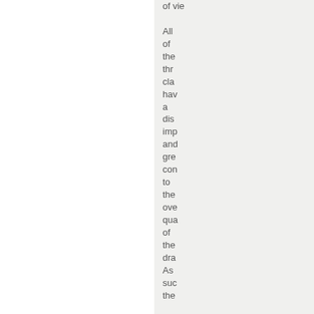of view. All of the three classes have a distinct importance and greater contribution to the overall quality of the draft. As such the